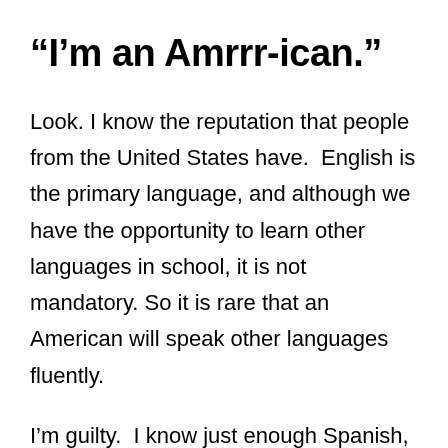“I’m an Amrrr-ican.”
Look. I know the reputation that people from the United States have.  English is the primary language, and although we have the opportunity to learn other languages in school, it is not mandatory. So it is rare that an American will speak other languages fluently.
I’m guilty.  I know just enough Spanish, French, German, and Dutch to … (incomplete)